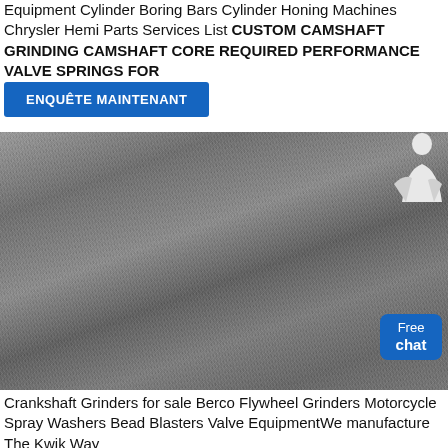Equipment Cylinder Boring Bars Cylinder Honing Machines Chrysler Hemi Parts Services List CUSTOM CAMSHAFT GRINDING CAMSHAFT CORE REQUIRED PERFORMANCE VALVE SPRINGS FOR
ENQUÊTE MAINTENANT
[Figure (photo): Close-up photograph of a rough, grainy metallic or concrete surface texture in shades of grey. A person (customer service representative) is partially visible in the top-right corner. A blue 'Free chat' button overlay appears in the bottom-right area of the image.]
Crankshaft Grinders for sale Berco Flywheel Grinders Motorcycle Spray Washers Bead Blasters Valve EquipmentWe manufacture The Kwik Way